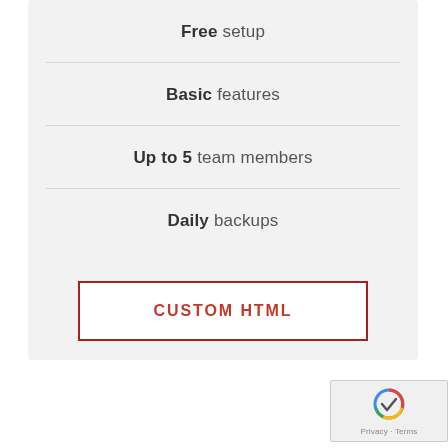Free setup
Basic features
Up to 5 team members
Daily backups
CUSTOM HTML
[Figure (logo): reCAPTCHA badge with Privacy and Terms links]